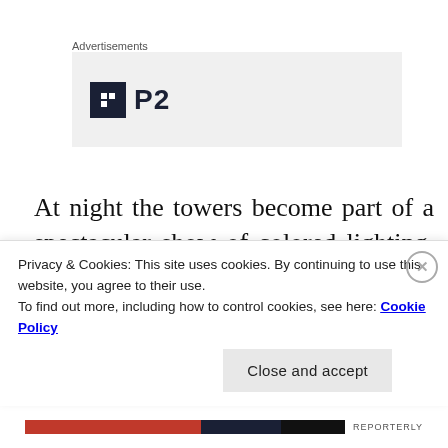Advertisements
[Figure (logo): Advertisement placeholder showing a square icon with 'P2' text logo on a light grey background]
At night the towers become part of a spectacular show of colored lighting, lasers, music, and movies projected on fountains and fans of water in the bay. Our room was
Privacy & Cookies: This site uses cookies. By continuing to use this website, you agree to their use.
To find out more, including how to control cookies, see here: Cookie Policy
Close and accept